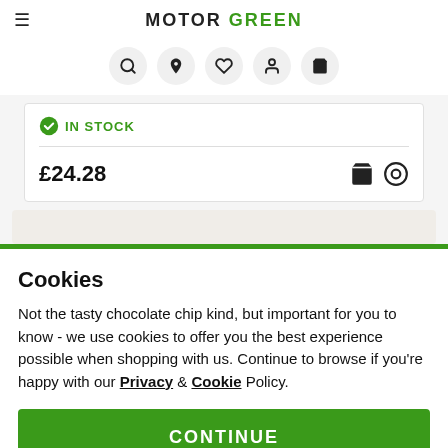MOTOR GREEN
IN STOCK
£24.28
Cookies
Not the tasty chocolate chip kind, but important for you to know - we use cookies to offer you the best experience possible when shopping with us. Continue to browse if you're happy with our Privacy & Cookie Policy.
CONTINUE